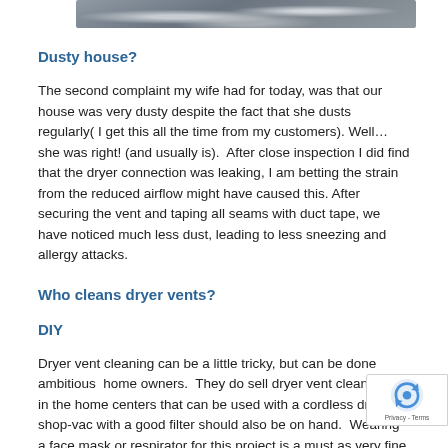[Figure (photo): Top portion of a photo showing dusty gray material, likely lint or dust accumulation from a dryer vent.]
Dusty house?
The second complaint my wife had for today, was that our house was very dusty despite the fact that she dusts regularly( I get this all the time from my customers). Well… she was right! (and usually is).  After close inspection I did find that the dryer connection was leaking, I am betting the strain from the reduced airflow might have caused this. After securing the vent and taping all seams with duct tape, we have noticed much less dust, leading to less sneezing and allergy attacks.
Who cleans dryer vents?
DIY
Dryer vent cleaning can be a little tricky, but can be done ambitious  home owners.  They do sell dryer vent cleaning kits in the home centers that can be used with a cordless drill, a shop-vac with a good filter should also be on hand.  Wearing a face mask or respirator for this project is a must as very fine particles will be circulating around your face. It is important to